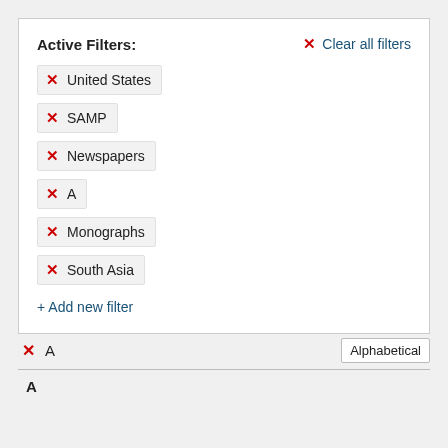Active Filters:
✕ United States
✕ SAMP
✕ Newspapers
✕ A
✕ Monographs
✕ South Asia
+ Add new filter
✕ A
Alphabetical
A